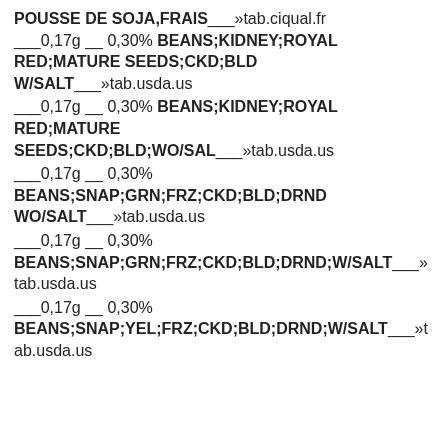POUSSE DE SOJA,FRAIS___»tab.ciqual.fr
___0,17g __ 0,30% BEANS;KIDNEY;ROYAL RED;MATURE SEEDS;CKD;BLD W/SALT___»tab.usda.us
___0,17g __ 0,30% BEANS;KIDNEY;ROYAL RED;MATURE SEEDS;CKD;BLD;WO/SAL___»tab.usda.us
___0,17g __ 0,30%
BEANS;SNAP;GRN;FRZ;CKD;BLD;DRND WO/SALT___»tab.usda.us
___0,17g __ 0,30%
BEANS;SNAP;GRN;FRZ;CKD;BLD;DRND;W/SALT___»tab.usda.us
___0,17g __ 0,30%
BEANS;SNAP;YEL;FRZ;CKD;BLD;DRND;W/SALT___»tab.usda.us